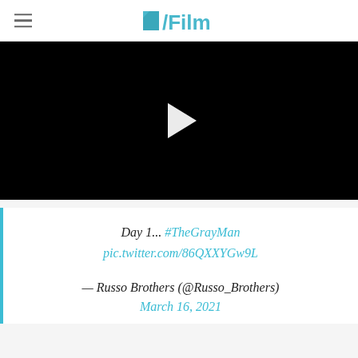/Film
[Figure (screenshot): Black video player with white play button triangle in center]
Day 1... #TheGrayMan pic.twitter.com/86QXXYGw9L
— Russo Brothers (@Russo_Brothers)
March 16, 2021